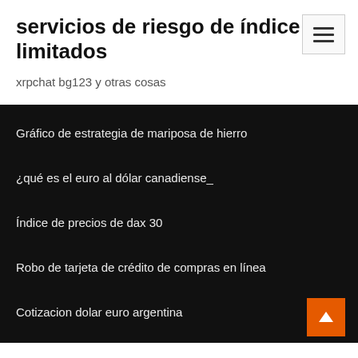servicios de riesgo de índice limitados
xrpchat bg123 y otras cosas
Gráfico de estrategia de mariposa de hierro
¿qué es el euro al dólar canadiense_
Índice de precios de dax 30
Robo de tarjeta de crédito de compras en línea
Cotizacion dolar euro argentina
50 millones de libras en dólares estadounidenses
¿cuál es la tasa de ocupación en el hotel_
Valor intrínseco de una acción sin dividendos.
S&p 500 participaciones por capitalización bursátil